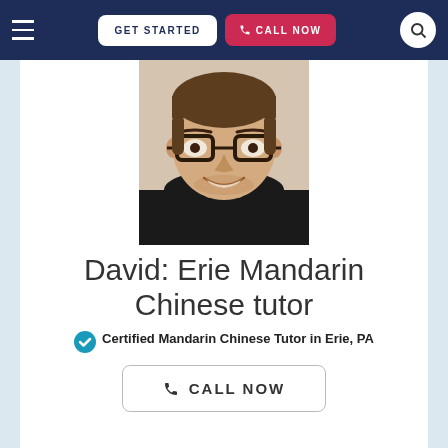GET STARTED | CALL NOW
[Figure (photo): Headshot of David, a young man with glasses and dark hair, smiling, wearing a black shirt, shown from shoulders up against a light background.]
David: Erie Mandarin Chinese tutor
Certified Mandarin Chinese Tutor in Erie, PA
CALL NOW